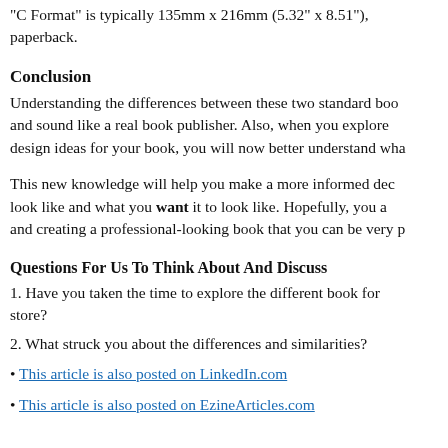"C Format" is typically 135mm x 216mm (5.32" x 8.51"), paperback.
Conclusion
Understanding the differences between these two standard boo and sound like a real book publisher. Also, when you explore design ideas for your book, you will now better understand wha
This new knowledge will help you make a more informed dec look like and what you want it to look like. Hopefully, you a and creating a professional-looking book that you can be very p
Questions For Us To Think About And Discuss
1. Have you taken the time to explore the different book for store?
2. What struck you about the differences and similarities?
• This article is also posted on LinkedIn.com
• This article is also posted on EzineArticles.com